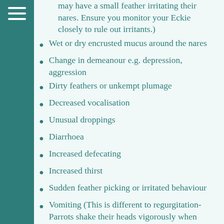may have a small feather irritating their nares. Ensure you monitor your Eckie closely to rule out irritants.)
Wet or dry encrusted mucus around the nares
Change in demeanour e.g. depression, aggression
Dirty feathers or unkempt plumage
Decreased vocalisation
Unusual droppings
Diarrhoea
Increased defecating
Increased thirst
Sudden feather picking or irritated behaviour
Vomiting (This is different to regurgitation-Parrots shake their heads vigorously when vomiting and food will often be found on the top of their head.)